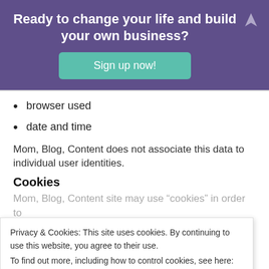Ready to change your life and build your own business?
[Figure (other): Green 'Sign up now!' button on purple banner]
browser used
date and time
Mom, Blog, Content does not associate this data to individual user identities.
Cookies
Mom, Blog, Content site may use “cookies” in order to
Privacy & Cookies: This site uses cookies. By continuing to use this website, you agree to their use.
To find out more, including how to control cookies, see here:
Cookie Policy
Close and accept
Webforms
Mom, Blog, Content uses forms to